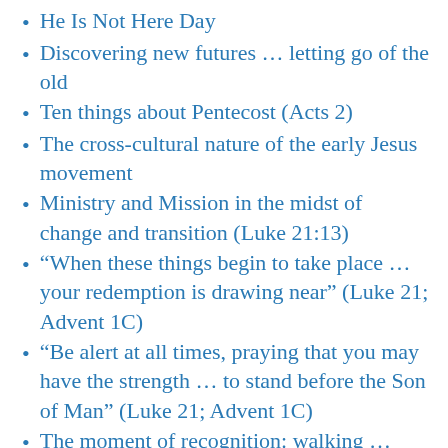He Is Not Here Day
Discovering new futures … letting go of the old
Ten things about Pentecost (Acts 2)
The cross-cultural nature of the early Jesus movement
Ministry and Mission in the midst of change and transition (Luke 21:13)
“When these things begin to take place … your redemption is drawing near” (Luke 21; Advent 1C)
“Be alert at all times, praying that you may have the strength … to stand before the Son of Man” (Luke 21; Advent 1C)
The moment of recognition: walking … talking … listening … understanding … (Luke 24; Easter evening)